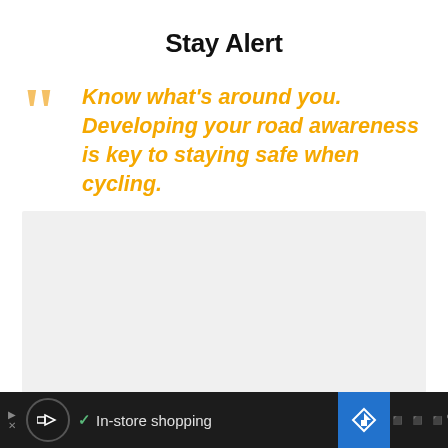Stay Alert
Know what’s around you. Developing your road awareness is key to staying safe when cycling.
[Figure (other): Light gray rectangular placeholder image area]
In-store shopping [Advertisement bar with icons]